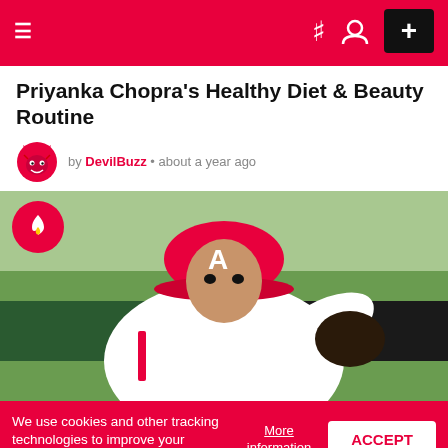Navigation bar with hamburger menu, icons, and + button
Priyanka Chopra's Healthy Diet & Beauty Routine
by DevilBuzz • about a year ago
[Figure (photo): Baseball pitcher in Los Angeles Angels uniform (white with red A cap) in mid-pitch motion, wearing a black mitt, with stadium background]
We use cookies and other tracking technologies to improve your browsing experience on our site.
More information
ACCEPT